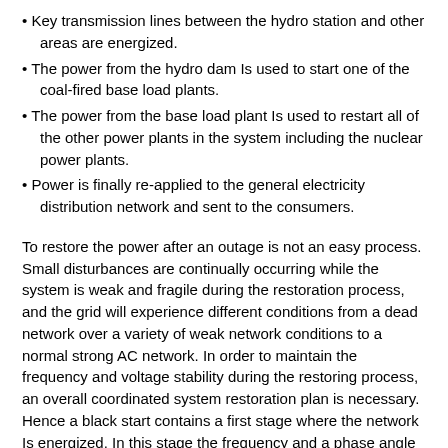Key transmission lines between the hydro station and other areas are energized.
The power from the hydro dam Is used to start one of the coal-fired base load plants.
The power from the base load plant Is used to restart all of the other power plants in the system including the nuclear power plants.
Power is finally re-applied to the general electricity distribution network and sent to the consumers.
To restore the power after an outage is not an easy process. Small disturbances are continually occurring while the system is weak and fragile during the restoration process, and the grid will experience different conditions from a dead network over a variety of weak network conditions to a normal strong AC network. In order to maintain the frequency and voltage stability during the restoring process, an overall coordinated system restoration plan is necessary. Hence a black start contains a first stage where the network Is energized. In this stage the frequency and a phase angle must be established. In a second stage which is the recovery stage the network is unstable and